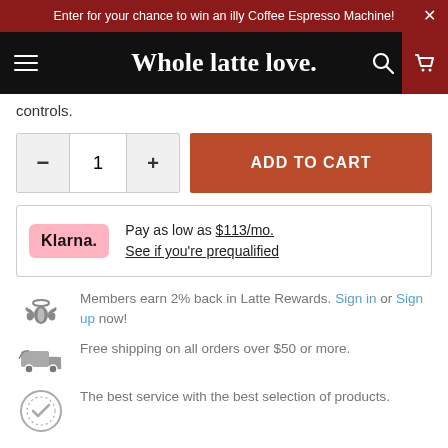Enter for your chance to win an illy Coffee Espresso Machine! ×
Whole latte love.
controls.
ADD TO CART — quantity control with minus, 1, plus buttons
Pay as low as $113/mo. See if you're prequalified
Members earn 2% back in Latte Rewards. Sign in or Sign up now!
Free shipping on all orders over $50 or more.
The best service with the best selection of products.